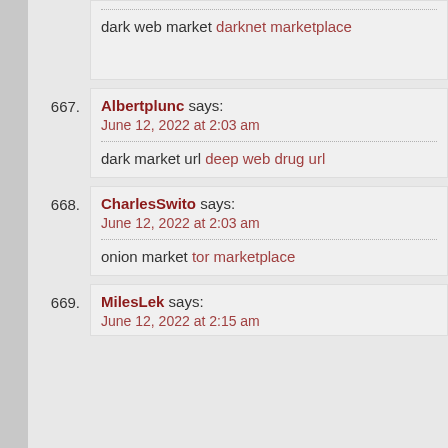dark web market darknet marketplace
667. Albertplunc says: June 12, 2022 at 2:03 am
dark market url deep web drug url
668. CharlesSwito says: June 12, 2022 at 2:03 am
onion market tor marketplace
669. MilesLek says: June 12, 2022 at 2:15 am